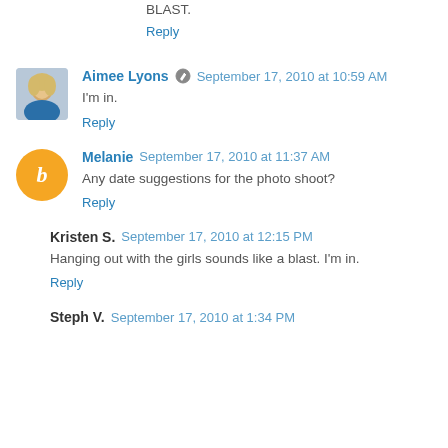BLAST.
Reply
Aimee Lyons  September 17, 2010 at 10:59 AM
I'm in.
Reply
Melanie  September 17, 2010 at 11:37 AM
Any date suggestions for the photo shoot?
Reply
Kristen S.  September 17, 2010 at 12:15 PM
Hanging out with the girls sounds like a blast. I'm in.
Reply
Steph V.  September 17, 2010 at 1:34 PM